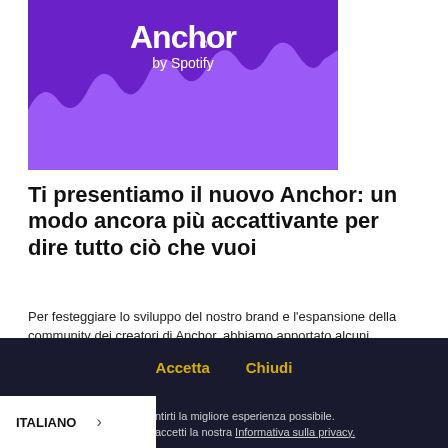[Figure (logo): Anchor by Spotify logo and graphic with purple background, sound wave shapes in lighter purple, white text showing 'Anchor' with registered trademark symbol and 'by Spotify' below]
Ti presentiamo il nuovo Anchor: un modo ancora più accattivante per dire tutto ciò che vuoi
Per festeggiare lo sviluppo del nostro brand e l'espansione della community dei creatori di Anchor, abbiamo apportato alcuni aggiornamenti e upgrade visivi che pensiamo ti piaceranno. Ecco uno sguardo più da vicino alle novità!
Accetta   Chiudi
ITALIANO >   ...ntirti la migliore esperienza possibile. ...accetti la nostra Informativa sulla privacy.